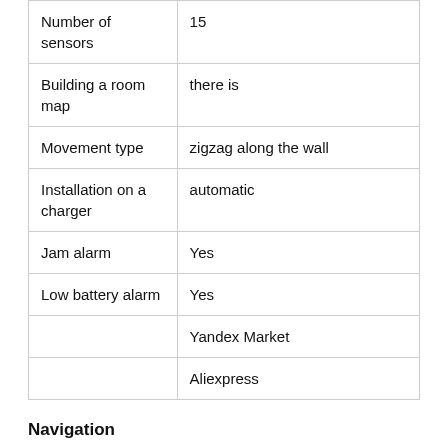| Number of sensors | 15 |
| Building a room map | there is |
| Movement type | zigzag along the wall |
| Installation on a charger | automatic |
| Jam alarm | Yes |
| Low battery alarm | Yes |
|  | Yandex Market |
|  | Aliexpress |
Navigation